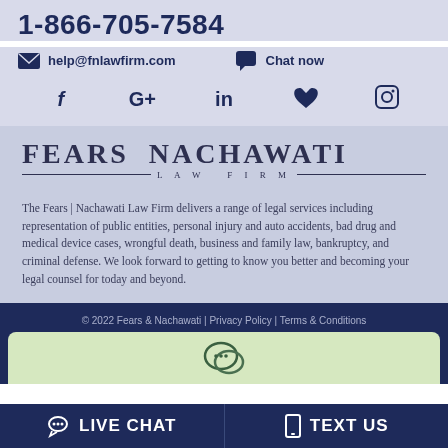1-866-705-7584
help@fnlawfirm.com   Chat now
[Figure (infographic): Social media icons row: Facebook (f), Google+ (G+), LinkedIn (in), Twitter bird, Instagram circle]
[Figure (logo): Fears Nachawati Law Firm logo with text FEARS NACHAWATI and LAW FIRM beneath with decorative lines]
The Fears | Nachawati Law Firm delivers a range of legal services including representation of public entities, personal injury and auto accidents, bad drug and medical device cases, wrongful death, business and family law, bankruptcy, and criminal defense. We look forward to getting to know you better and becoming your legal counsel for today and beyond.
© 2022 Fears & Nachawati | Privacy Policy | Terms & Conditions
LIVE CHAT   TEXT US